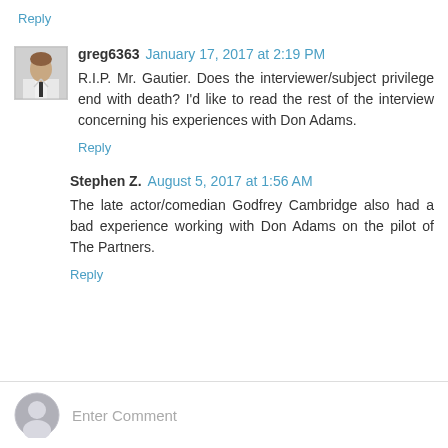Reply
greg6363  January 17, 2017 at 2:19 PM
R.I.P. Mr. Gautier. Does the interviewer/subject privilege end with death? I'd like to read the rest of the interview concerning his experiences with Don Adams.
Reply
Stephen Z.  August 5, 2017 at 1:56 AM
The late actor/comedian Godfrey Cambridge also had a bad experience working with Don Adams on the pilot of The Partners.
Reply
Enter Comment